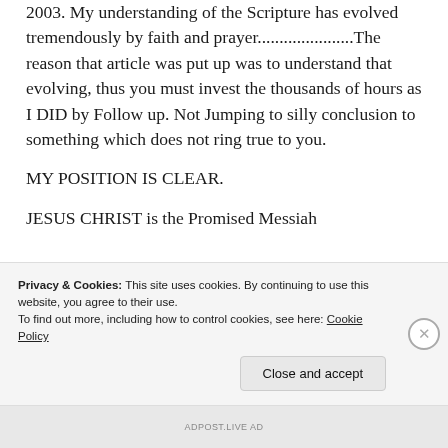2003. My understanding of the Scripture has evolved tremendously by faith and prayer......................The reason that article was put up was to understand that evolving, thus you must invest the thousands of hours as I DID by Follow up. Not Jumping to silly conclusion to something which does not ring true to you.
MY POSITION IS CLEAR.
JESUS CHRIST is the Promised Messiah
Privacy & Cookies: This site uses cookies. By continuing to use this website, you agree to their use.
To find out more, including how to control cookies, see here: Cookie Policy
Close and accept
ADPOST.LIVE AD